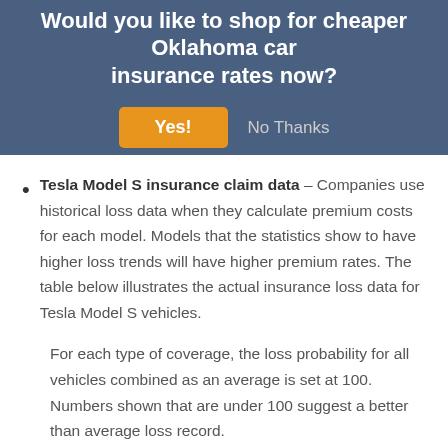[Figure (screenshot): Modal overlay dialog asking 'Would you like to shop for cheaper Oklahoma car insurance rates now?' with a yellow 'Yes!' button and grey 'No Thanks' text link.]
Tesla Model S insurance claim data – Companies use historical loss data when they calculate premium costs for each model. Models that the statistics show to have higher loss trends will have higher premium rates. The table below illustrates the actual insurance loss data for Tesla Model S vehicles.
For each type of coverage, the loss probability for all vehicles combined as an average is set at 100. Numbers shown that are under 100 suggest a better than average loss record.